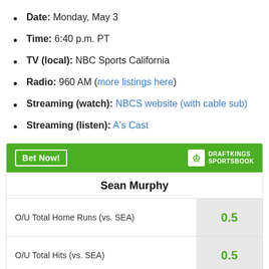Date: Monday, May 3
Time: 6:40 p.m. PT
TV (local): NBC Sports California
Radio: 960 AM (more listings here)
Streaming (watch): NBCS website (with cable sub)
Streaming (listen): A's Cast
|  | Sean Murphy |  |
| --- | --- | --- |
| O/U Total Home Runs (vs. SEA) | 0.5 |  |
| O/U Total Hits (vs. SEA) | 0.5 |  |